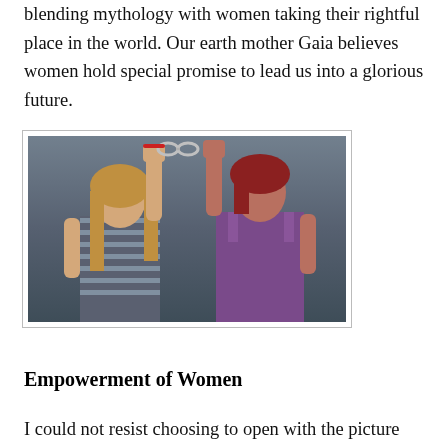blending mythology with women taking their rightful place in the world. Our earth mother Gaia believes women hold special promise to lead us into a glorious future.
[Figure (photo): Two young women handcuffed together, both raising their joined hands with fists raised. The woman on the left has long blonde/auburn hair and wears a striped shirt. The woman on the right has short auburn/red hair and wears a purple tank top. Dark background.]
Empowerment of Women
I could not resist choosing to open with the picture